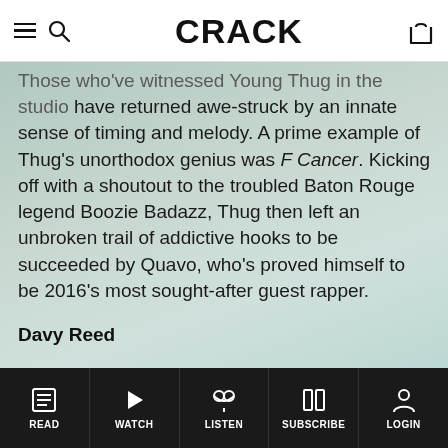CRACK
Those who've witnessed Young Thug in the studio have returned awe-struck by an innate sense of timing and melody. A prime example of Thug's unorthodox genius was F Cancer. Kicking off with a shoutout to the troubled Baton Rouge legend Boozie Badazz, Thug then left an unbroken trail of addictive hooks to be succeeded by Quavo, who's proved himself to be 2016's most sought-after guest rapper.
Davy Reed
READ | WATCH | LISTEN | SUBSCRIBE | LOGIN